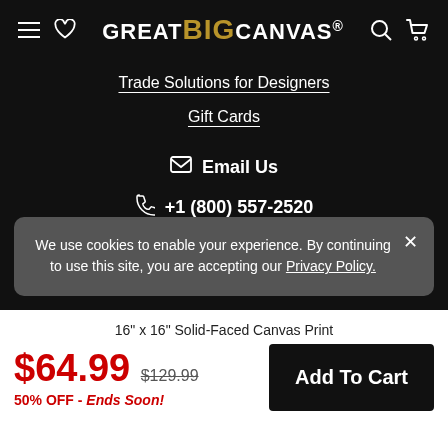GREAT BIG CANVAS.
Trade Solutions for Designers
Gift Cards
Email Us
+1 (800) 557-2520
We use cookies to enable your experience. By continuing to use this site, you are accepting our Privacy Policy.
16" x 16" Solid-Faced Canvas Print
$64.99 $129.99 50% OFF - Ends Soon!
Add To Cart